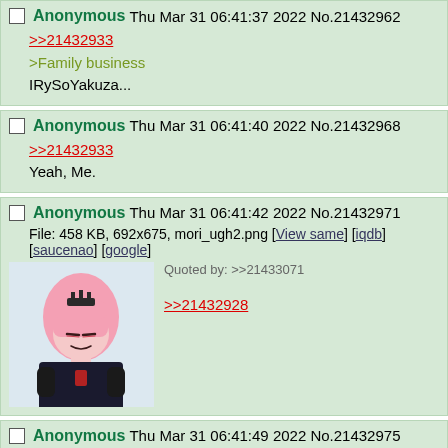Anonymous Thu Mar 31 06:41:37 2022 No.21432962
>>21432933
>Family business
IRySoYakuza...
Anonymous Thu Mar 31 06:41:40 2022 No.21432968
>>21432933
Yeah, Me.
Anonymous Thu Mar 31 06:41:42 2022 No.21432971
File: 458 KB, 692x675, mori_ugh2.png [View same] [iqdb] [saucenao] [google]
Quoted by: >>21433071
>>21432928
[Figure (illustration): Anime character with pink hair and dark clothing]
Anonymous Thu Mar 31 06:41:49 2022 No.21432975
>>21432759